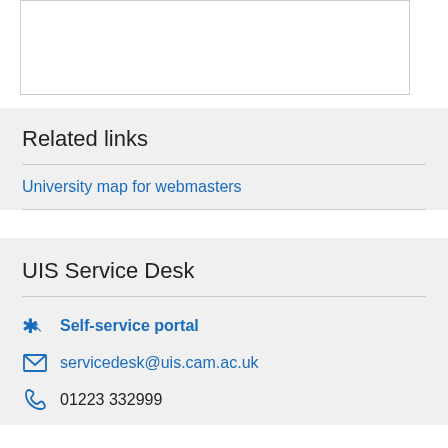[Figure (other): White box with border, partial content area at top of page]
Related links
University map for webmasters
UIS Service Desk
Self-service portal
servicedesk@uis.cam.ac.uk
01223 332999